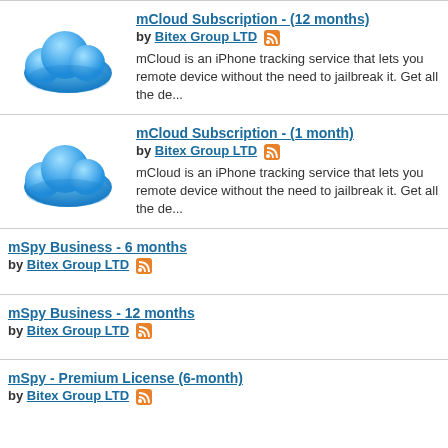mCloud Subscription - (12 months) by Bitex Group LTD. mCloud is an iPhone tracking service that lets you remote device without the need to jailbreak it. Get all the de...
mCloud Subscription - (1 month) by Bitex Group LTD. mCloud is an iPhone tracking service that lets you remote device without the need to jailbreak it. Get all the de...
mSpy Business - 6 months by Bitex Group LTD
mSpy Business - 12 months by Bitex Group LTD
mSpy - Premium License (6-month) by Bitex Group LTD